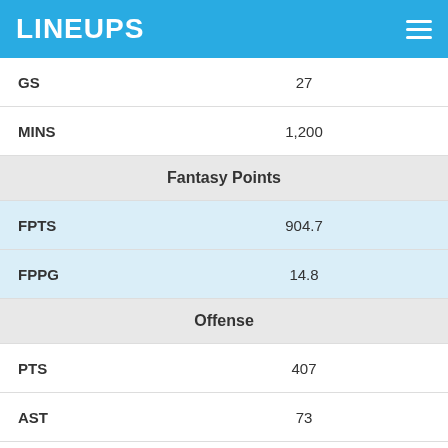LINEUPS
| Stat | Value |
| --- | --- |
| GS | 27 |
| MINS | 1,200 |
| Fantasy Points |  |
| FPTS | 904.7 |
| FPPG | 14.8 |
| Offense |  |
| PTS | 407 |
| AST | 73 |
| FGM | 153 |
| FGA | 378 |
| FG% | 40.5% |
| 3PM | 65 |
| 3PA | 209 |